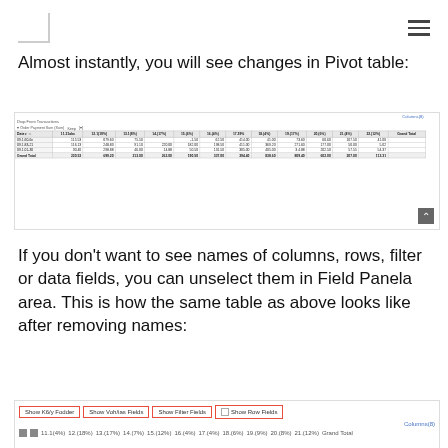[Logo] [Navigation menu]
Almost instantly, you will see changes in Pivot table:
[Figure (screenshot): A pivot table screenshot showing Order Payment Sum (Sum) data with columns for different time periods (11.21abc, 12.1(19%), 13.1(8%), 14.(17%), 15.(6%), 16.(4%), 17.39%, 18.(4%), 19.(17%), 20.(6%), 21.(4%), 22.(12%)), rows for dates (09.1.60-6n, 09.1.83-21, 09.1.01-30, Grand Total) and Grand Total column. Values include numbers like 115.53, 079.60, 75.50, -1.50, 62.50, 414.00, 41.00, 73.60, 60.60, 107.50, 41.00 etc.]
If you don’t want to see names of columns, rows, filter or data fields, you can unselect them in Field Panela area. This is how the same table as above looks like after removing names:
[Figure (screenshot): A pivot table screenshot showing checkboxes/buttons: Show K6/y Fodder, Show Voh/ias Fields, Show Filter Fields, Show Row Fields — with a red outline around all four buttons. Below shows column headers and partial data rows.]